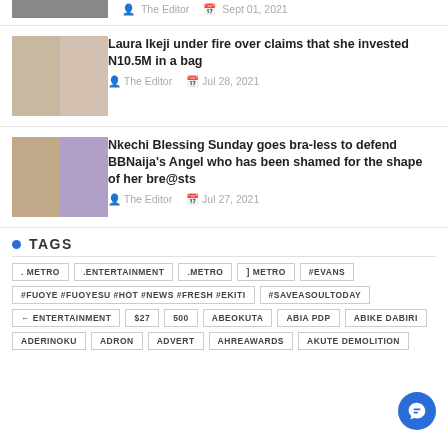[Figure (photo): Partial top article image (cropped)]
The Editor   Sept 01, 2021
[Figure (photo): Two women posing, Laura Ikeji article thumbnail]
Laura Ikeji under fire over claims that she invested N10.5M in a bag
The Editor   Jul 28, 2021
[Figure (photo): Two people posing, Nkechi Blessing Sunday article thumbnail]
Nkechi Blessing Sunday goes bra-less to defend BBNaija's Angel who has been shamed for the shape of her bre@sts
The Editor   Jul 27, 2021
TAGS
. METRO
.ENTERTAINMENT
.METRO
] METRO
#EVANS
#FUOYE #FUOYESU #HOT #NEWS #FRESH #EKITI
#SAVEASOULTODAY
← ENTERTAINMENT
$27
500
ABEOKUTA
ABIA PDP
ABIKE DABIRI
ADERINOKU
ADRON
ADVERT
AHREAWARDS
AKUTE DEMOLITION